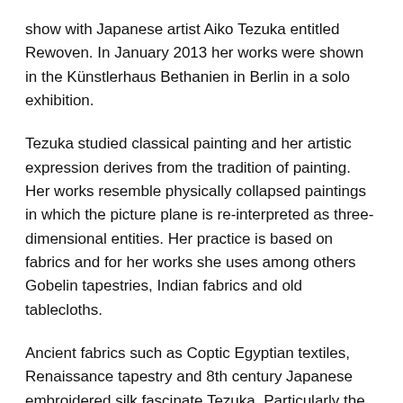show with Japanese artist Aiko Tezuka entitled Rewoven. In January 2013 her works were shown in the Künstlerhaus Bethanien in Berlin in a solo exhibition.
Tezuka studied classical painting and her artistic expression derives from the tradition of painting. Her works resemble physically collapsed paintings in which the picture plane is re-interpreted as three-dimensional entities. Her practice is based on fabrics and for her works she uses among others Gobelin tapestries, Indian fabrics and old tablecloths.
Ancient fabrics such as Coptic Egyptian textiles, Renaissance tapestry and 8th century Japanese embroidered silk fascinate Tezuka. Particularly the fact that it is apparently impossible to remake some ancient Japanese fabrics today, even if one were to use the latest technologies available.